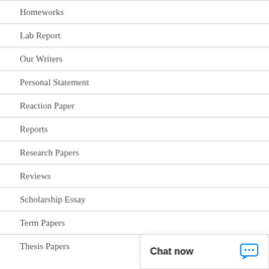Homeworks
Lab Report
Our Writers
Personal Statement
Reaction Paper
Reports
Research Papers
Reviews
Scholarship Essay
Term Papers
Thesis Papers